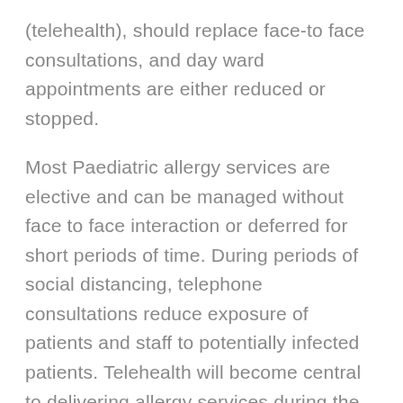(telehealth), should replace face-to face consultations, and day ward appointments are either reduced or stopped.
Most Paediatric allergy services are elective and can be managed without face to face interaction or deferred for short periods of time. During periods of social distancing, telephone consultations reduce exposure of patients and staff to potentially infected patients. Telehealth will become central to delivering allergy services during the SARS-CoV2 pandemic and most likely, for some period beyond. Many patients with allergic